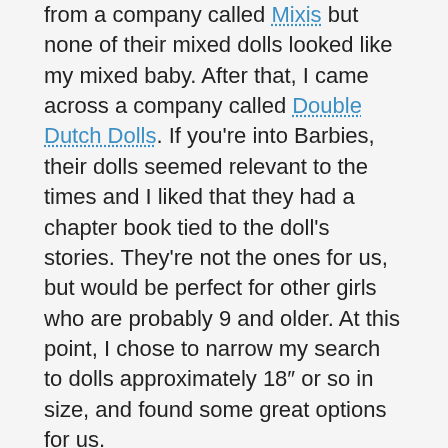from a company called Mixis but none of their mixed dolls looked like my mixed baby.  After that, I came across a company called Double Dutch Dolls.  If you're into Barbies, their dolls seemed relevant to the times and I liked that they had a chapter book tied to the doll's stories.  They're not the ones for us, but would be perfect for other girls who are probably 9 and older.  At this point, I chose to narrow my search to dolls approximately 18″ or so in size, and found some great options for us.

Some of my top picks are as follows:  Starpath Dolls were a good option that happen to come with a personalized book.  Madame Alexander, Springfield Dolls, and Dollies and Me also seemed to meet a lot of the criteria we had laid out.  The first honourable mentions goes out to Journey Girls' Kyla doll, who looks great and has a quite affordable price